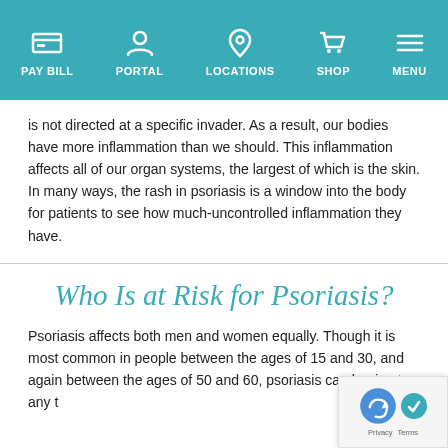PAY BILL | PORTAL | LOCATIONS | SHOP | MENU
is not directed at a specific invader. As a result, our bodies have more inflammation than we should. This inflammation affects all of our organ systems, the largest of which is the skin. In many ways, the rash in psoriasis is a window into the body for patients to see how much-uncontrolled inflammation they have.
Who Is at Risk for Psoriasis?
Psoriasis affects both men and women equally. Though it is most common in people between the ages of 15 and 30, and again between the ages of 50 and 60, psoriasis can begin at any t…